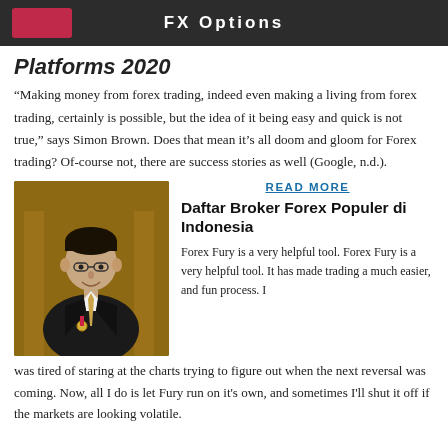FX Options
Platforms 2020
“Making money from forex trading, indeed even making a living from forex trading, certainly is possible, but the idea of it being easy and quick is not true,” says Simon Brown. Does that mean it’s all doom and gloom for Forex trading? Of-course not, there are success stories as well (Google, n.d.).
[Figure (photo): Young man in formal black suit with medal, smiling, set against ornate golden background]
READ MORE
Daftar Broker Forex Populer di Indonesia
Forex Fury is a very helpful tool. Forex Fury is a very helpful tool. It has made trading a much easier, and fun process. I was tired of staring at the charts trying to figure out when the next reversal was coming. Now, all I do is let Fury run on it's own, and sometimes I'll shut it off if the markets are looking volatile.